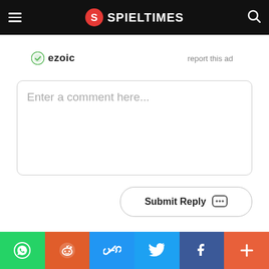SPIELTIMES
[Figure (other): Ezoic ad placeholder with 'report this ad' link]
Enter a comment here...
Submit Reply
[Figure (other): Social sharing bar with WhatsApp, Reddit, Link, Twitter, Facebook, and More buttons]